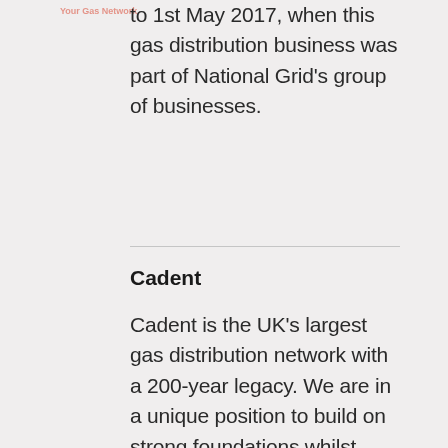Your Gas Network
to 1st May 2017, when this gas distribution business was part of National Grid's group of businesses.
Cadent
Cadent is the UK's largest gas distribution network with a 200-year legacy.  We are in a unique position to build on strong foundations whilst encouraging the curiosity to think differently and the courage to embrace change.  Day to day we continue to operate, maintain and innovate the UK's largest gas network, transporting gas safely and protecting people in an emergency.   Our skilled engineers and specialists remain committed to the